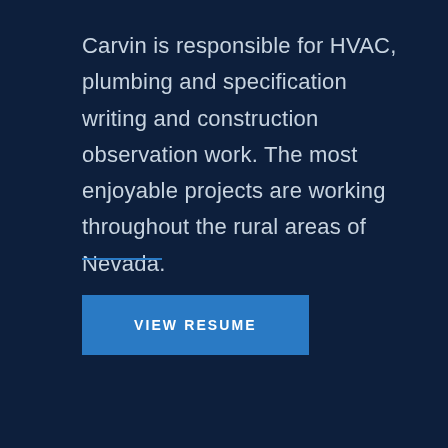Carvin is responsible for HVAC, plumbing and specification writing and construction observation work. The most enjoyable projects are working throughout the rural areas of Nevada.
[Figure (other): A short horizontal blue decorative divider line]
VIEW RESUME